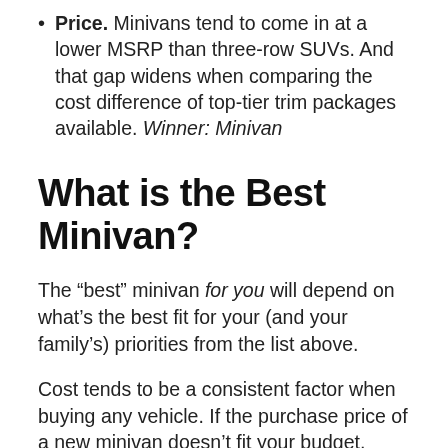Price. Minivans tend to come in at a lower MSRP than three-row SUVs. And that gap widens when comparing the cost difference of top-tier trim packages available. Winner: Minivan
What is the Best Minivan?
The “best” minivan for you will depend on what’s the best fit for your (and your family’s) priorities from the list above.
Cost tends to be a consistent factor when buying any vehicle. If the purchase price of a new minivan doesn’t fit your budget, consider looking into buying used.